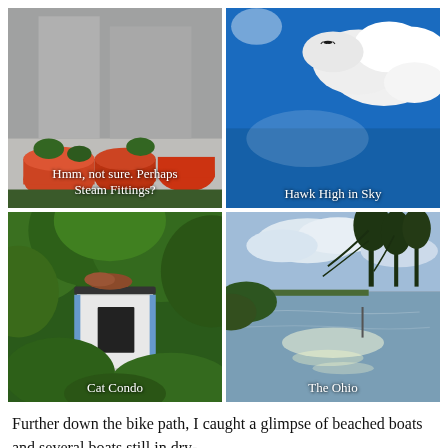[Figure (photo): Industrial scene with orange/red steam fittings or valves behind a chain-link fence, with buildings in background. Caption: 'Hmm, not sure. Perhaps Steam Fittings?']
[Figure (photo): Blue sky with white clouds and a hawk flying high. Caption: 'Hawk High in Sky']
[Figure (photo): Small blue and white cat condo/shelter surrounded by green plants. Caption: 'Cat Condo']
[Figure (photo): The Ohio River with trees along the bank and reflective water surface. Caption: 'The Ohio']
Further down the bike path, I caught a glimpse of beached boats and several boats still in dry-